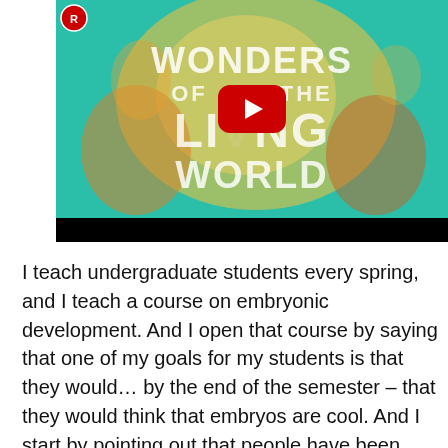[Figure (screenshot): YouTube video thumbnail titled 'Wonders of the Living World' with a teal/orange illustrated background showing embryos and biological imagery, with a large red YouTube play button in the center and a circular logo badge in the top left.]
I teach undergraduate students every spring, and I teach a course on embryonic development. And I open that course by saying that one of my goals for my students is that they would… by the end of the semester – that they would think that embryos are cool. And I start by pointing out that people have been thinking about embryos for a long time. And